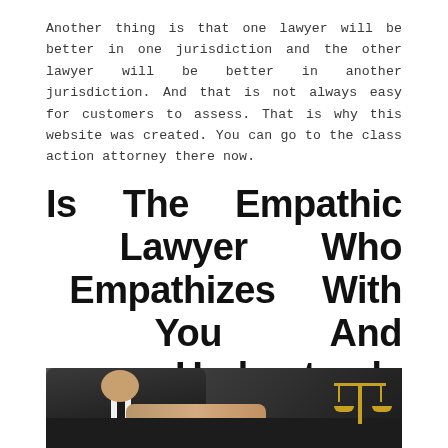Another thing is that one lawyer will be better in one jurisdiction and the other lawyer will be better in another jurisdiction. And that is not always easy for customers to assess. That is why this website was created. You can go to the class action attorney there now.
Is The Empathic Lawyer Who Empathizes With You And Understands Your Problem The Best Lawyer?
[Figure (photo): A lawyer in a dark suit smiling, with hands clasped across a desk, and a gold balance scale of justice visible in the background.]